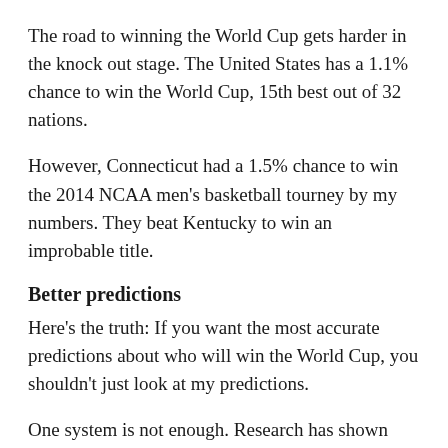The road to winning the World Cup gets harder in the knock out stage. The United States has a 1.1% chance to win the World Cup, 15th best out of 32 nations.
However, Connecticut had a 1.5% chance to win the 2014 NCAA men's basketball tourney by my numbers. They beat Kentucky to win an improbable title.
Better predictions
Here's the truth: If you want the most accurate predictions about who will win the World Cup, you shouldn't just look at my predictions.
One system is not enough. Research has shown that better predictions arise from aggregating many predictions. To move closer to d...